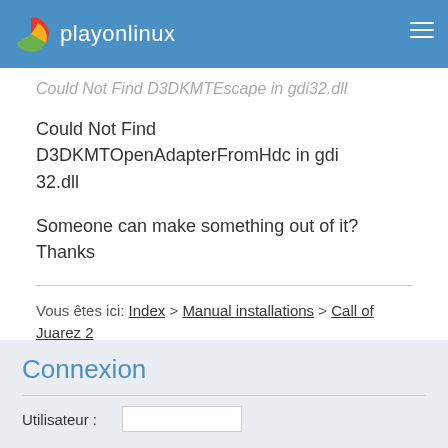playonlinux
Could Not Find D3DKMTEscape in gdi32.dll
Could Not Find D3DKMTOpenAdapterFromHdc in gdi32.dll
Someone can make something out of it? Thanks
Vous êtes ici: Index > Manual installations > Call of Juarez 2 Bound in Blood
Connexion
Utilisateur :